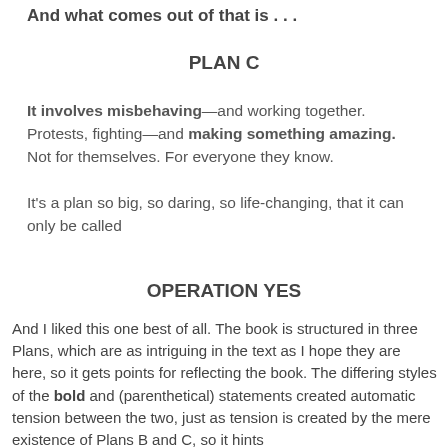And what comes out of that is . . .
PLAN C
It involves misbehaving—and working together.
Protests, fighting—and making something amazing.
Not for themselves. For everyone they know.

It's a plan so big, so daring, so life-changing, that it can only be called
OPERATION YES
And I liked this one best of all. The book is structured in three Plans, which are as intriguing in the text as I hope they are here, so it gets points for reflecting the book. The differing styles of the bold and (parenthetical) statements created automatic tension between the two, just as tension is created by the mere existence of Plans B and C, so it hints